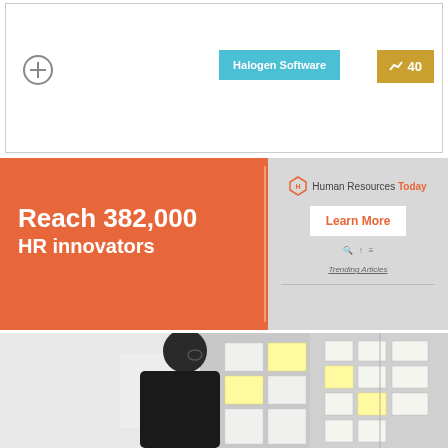and why it's important.
[Figure (other): Plus icon circle button and Halogen Software blue button with score badge 40 in gold]
[Figure (infographic): Orange advertisement banner: Reach 382,000 HR innovators with Human Resources Today Learn More button on right side]
[Figure (photo): Person silhouette viewed from behind looking at a wall with papers and sticky notes pinned to it]